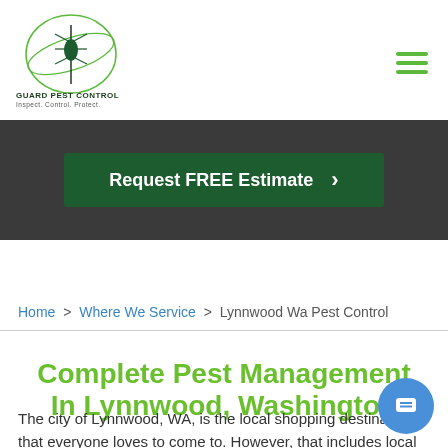Guard Pest Control | Inspect. Control. Protect.
[Figure (screenshot): Request FREE Estimate button on dark green background with right arrow]
Home > Where We Service > Lynnwood Wa Pest Control
Complete Pest Management In Lynnwood, Washington
The city of Lynnwood, WA, is the local shopping destination that everyone loves to come to. However, that includes local pest populations